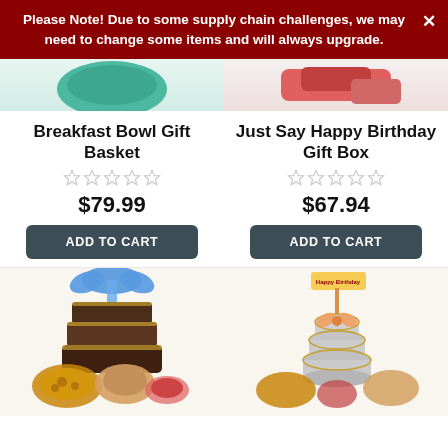Please Note! Due to some supply chain challenges, we may need to change some items and will always upgrade.
[Figure (photo): Partial product images of two gift baskets at top]
Breakfast Bowl Gift Basket
[Figure (other): 5 empty star rating for Breakfast Bowl Gift Basket]
$79.99
ADD TO CART
Just Say Happy Birthday Gift Box
[Figure (other): 5 empty star rating for Just Say Happy Birthday Gift Box]
$67.94
ADD TO CART
[Figure (photo): Gift basket with blue ribbon, snacks, pretzels, and cookies on left; tiered gift tower with Happy Birthday banner and snacks on right]